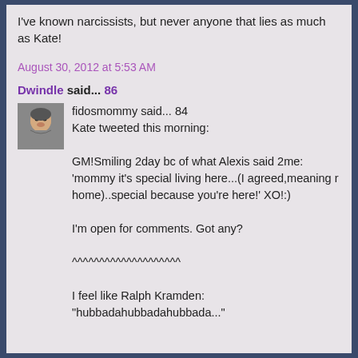I've known narcissists, but never anyone that lies as much as Kate!
August 30, 2012 at 5:53 AM
Dwindle said... 86
fidosmommy said... 84
Kate tweeted this morning:

GM!Smiling 2day bc of what Alexis said 2me: 'mommy it's special living here...(I agreed,meaning r home)..special because you're here!' XO!:)

I'm open for comments. Got any?

^^^^^^^^^^^^^^^^^^^^

I feel like Ralph Kramden:
"hubbadahubbadahubbada..."